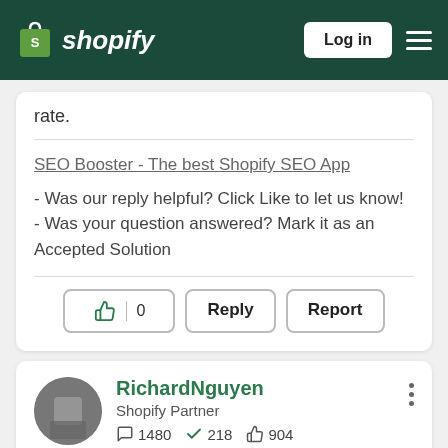Shopify — Log in
rate.
SEO Booster - The best Shopify SEO App
- Was our reply helpful? Click Like to let us know!
- Was your question answered? Mark it as an Accepted Solution
👍 0   Reply   Report
RichardNguyen
Shopify Partner
1480  218  904